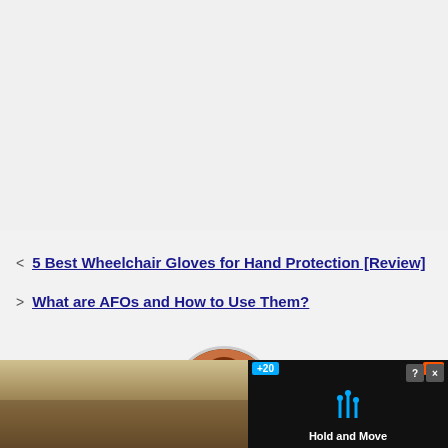5 Best Wheelchair Gloves for Hand Protection [Review]
What are AFOs and How to Use Them?
[Figure (photo): Circular avatar photo of a woman with reddish-brown hair]
[Figure (screenshot): Advertisement banner showing a mobile game 'Hold and Move' with score display and outdoor winter photo background]